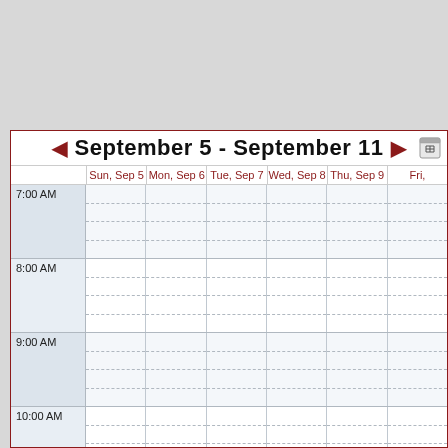September 5 - September 11
|  | Sun, Sep 5 | Mon, Sep 6 | Tue, Sep 7 | Wed, Sep 8 | Thu, Sep 9 | Fri, |
| --- | --- | --- | --- | --- | --- | --- |
| 7:00 AM |  |  |  |  |  |  |
| 8:00 AM |  |  |  |  |  |  |
| 9:00 AM |  |  |  |  |  |  |
| 10:00 AM |  |  |  |  |  |  |
| 11:00 AM |  |  |  |  |  |  |